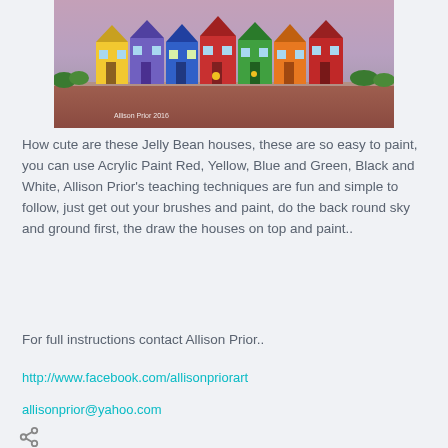[Figure (illustration): A painting of colorful Jelly Bean houses in a row with a pinkish-purple sky background and reddish-brown ground. Houses are painted in yellow, purple, blue, red, green, orange colors. Watermark text 'Allison Prior 2016' visible at bottom left of painting.]
How cute are these Jelly Bean houses, these are so easy to paint, you can use Acrylic Paint Red, Yellow, Blue and Green, Black and White, Allison Prior's teaching techniques are fun and simple to follow, just get out your brushes and paint, do the back round sky and ground first, the draw the houses on top and paint..
For full instructions contact Allison Prior..
http://www.facebook.com/allisonpriorart
allisonprior@yahoo.com